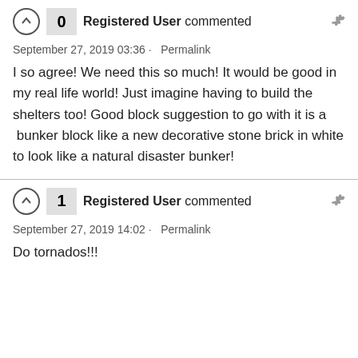0  Registered User commented
September 27, 2019 03:36 · Permalink
I so agree! We need this so much! It would be good in my real life world! Just imagine having to build the shelters too! Good block suggestion to go with it is a  bunker block like a new decorative stone brick in white to look like a natural disaster bunker!
1  Registered User commented
September 27, 2019 14:02 · Permalink
Do tornados!!!